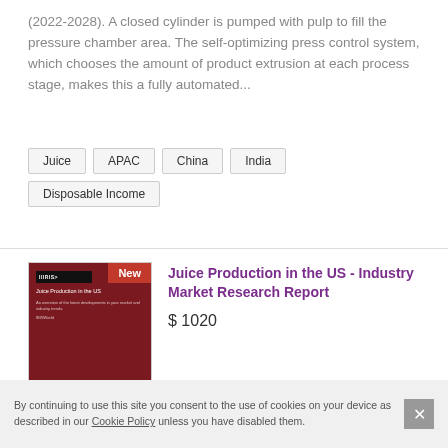(2022-2028). A closed cylinder is pumped with pulp to fill the pressure chamber area. The self-optimizing press control system, which chooses the amount of product extrusion at each process stage, makes this a fully automated...
Juice
APAC
China
India
Disposable Income
Juice Production in the US - Industry Market Research Report
$ 1020
[Figure (illustration): Book cover thumbnail for 'Juice Production in the US' market research report with dark red background and 'New' badge]
By continuing to use this site you consent to the use of cookies on your device as described in our Cookie Policy unless you have disabled them.